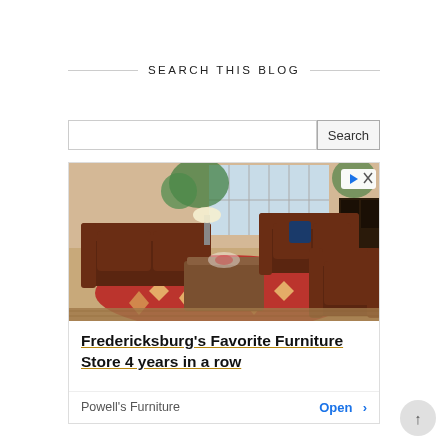SEARCH THIS BLOG
[Figure (screenshot): Search bar input field with Search button]
[Figure (photo): Advertisement photo showing brown leather sofas and recliner chairs arranged in a furniture store showroom on a red patterned rug with a wooden coffee table. A play/close badge appears in the top right corner.]
Fredericksburg's Favorite Furniture Store 4 years in a row
Powell's Furniture
Open >